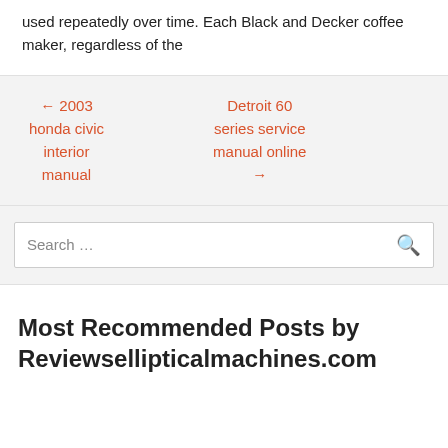used repeatedly over time. Each Black and Decker coffee maker, regardless of the
← 2003 honda civic interior manual
Detroit 60 series service manual online →
Search …
Most Recommended Posts by Reviewsellipticalmachines.com